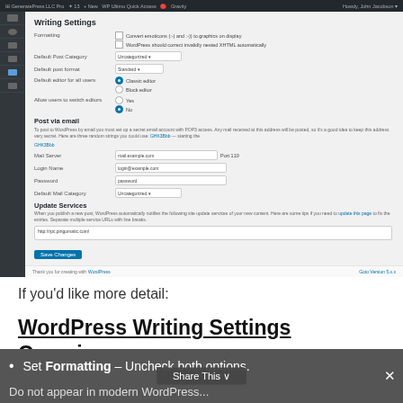[Figure (screenshot): WordPress Writing Settings admin panel screenshot showing form fields for Formatting, Default Post Category, Default Post Format, Default editor for all users, Allow users to switch editors, Post via email section, Mail Server, Login Name, Password, Default Mail Category, and Update Services.]
If you'd like more detail:
WordPress Writing Settings Overview
Set Formatting – Uncheck both options. Do not appear in modern WordPress...
Share This